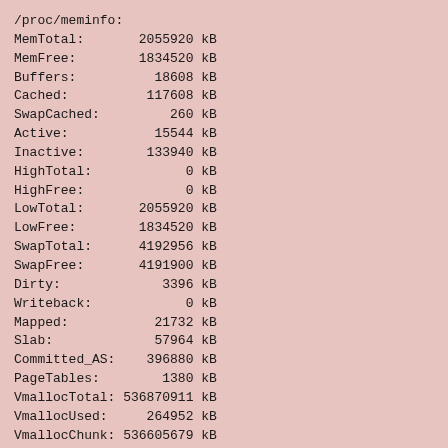/proc/meminfo:
MemTotal:       2055920 kB
MemFree:        1834520 kB
Buffers:          18608 kB
Cached:          117608 kB
SwapCached:         260 kB
Active:           15544 kB
Inactive:        133940 kB
HighTotal:            0 kB
HighFree:             0 kB
LowTotal:       2055920 kB
LowFree:        1834520 kB
SwapTotal:      4192956 kB
SwapFree:       4191900 kB
Dirty:             3396 kB
Writeback:            0 kB
Mapped:           21732 kB
Slab:             57964 kB
Committed_AS:    396880 kB
PageTables:        1380 kB
VmallocTotal: 536870911 kB
VmallocUsed:     264952 kB
VmallocChunk: 536605679 kB
HugePages_Total:       0
HugePages_Free:        0
Hugepagesize:      2048 kB

Free space on /tmp at the end= 66396 MiB
End job on node34 at 2009-04-26 14:25:25